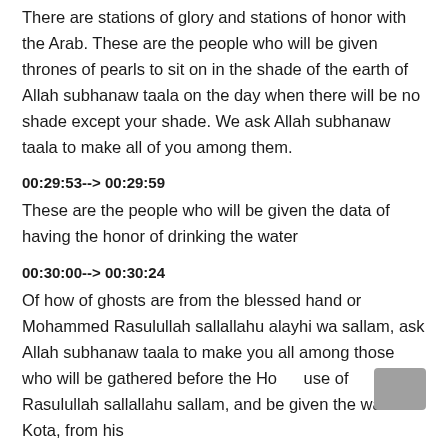There are stations of glory and stations of honor with the Arab. These are the people who will be given thrones of pearls to sit on in the shade of the earth of Allah subhanaw taala on the day when there will be no shade except your shade. We ask Allah subhanaw taala to make all of you among them.
00:29:53--> 00:29:59
These are the people who will be given the data of having the honor of drinking the water
00:30:00--> 00:30:24
Of how of ghosts are from the blessed hand or Mohammed Rasulullah sallallahu alayhi wa sallam, ask Allah subhanaw taala to make you all among those who will be gathered before the House of Rasulullah sallallahu sallam, and be given the water of Kota, from his